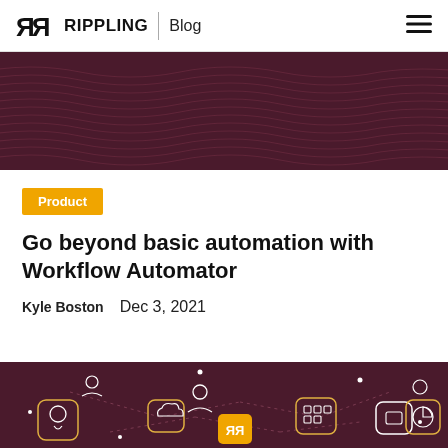RR RIPPLING | Blog
[Figure (illustration): Dark maroon/purple header banner with abstract wave line patterns]
Product
Go beyond basic automation with Workflow Automator
Kyle Boston   Dec 3, 2021
[Figure (illustration): Dark maroon background with white line icons of people, app icons, and a central yellow Rippling logo box, connected by dotted lines]